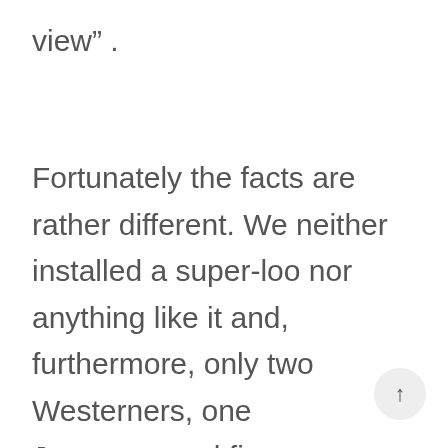view" .
Fortunately the facts are rather different. We neither installed a super-loo nor anything like it and, furthermore, only two Westerners, one Japanese and five Nepalese Sherpas reached the summit of